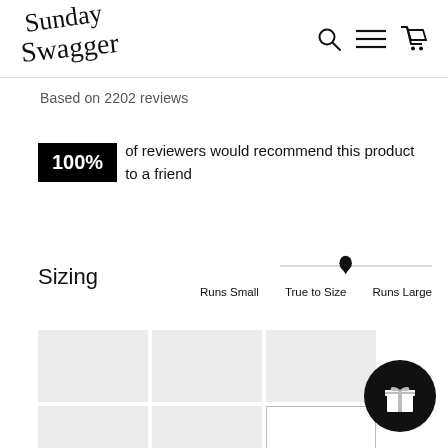Sunday Swagger
Based on 2202 reviews
100% of reviewers would recommend this product to a friend
Sizing
Runs Small  True to Size  Runs Large
[Figure (photo): Grid of 6 product photo thumbnails arranged in 2 rows of 3]
[Figure (other): Circular black gift/loyalty button with gift box icon]